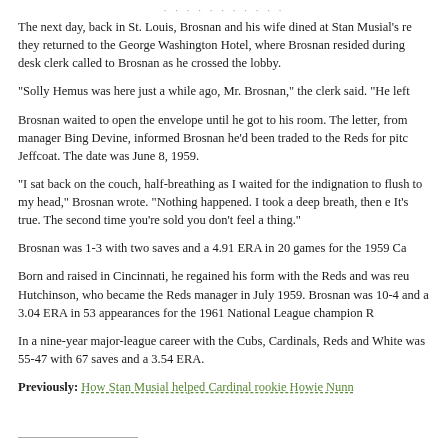The next day, back in St. Louis, Brosnan and his wife dined at Stan Musial's r… they returned to the George Washington Hotel, where Brosnan resided during… desk clerk called to Brosnan as he crossed the lobby.
“Solly Hemus was here just a while ago, Mr. Brosnan,” the clerk said. “He left…
Brosnan waited to open the envelope until he got to his room. The letter, from… manager Bing Devine, informed Brosnan he’d been traded to the Reds for pitc… Jeffcoat. The date was June 8, 1959.
“I sat back on the couch, half-breathing as I waited for the indignation to flush… to my head,” Brosnan wrote. “Nothing happened. I took a deep breath, then e… It’s true. The second time you’re sold you don’t feel a thing.”
Brosnan was 1-3 with two saves and a 4.91 ERA in 20 games for the 1959 Ca…
Born and raised in Cincinnati, he regained his form with the Reds and was reu… Hutchinson, who became the Reds manager in July 1959. Brosnan was 10-4… and a 3.04 ERA in 53 appearances for the 1961 National League champion R…
In a nine-year major-league career with the Cubs, Cardinals, Reds and White… was 55-47 with 67 saves and a 3.54 ERA.
Previously: How Stan Musial helped Cardinal rookie Howie Nunn